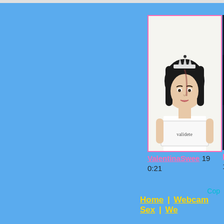[Figure (screenshot): Thumbnail image of a young woman wearing a small crown/tiara, holding a sign, with dark hair. Pink border around card.]
ValentinaSwee 19
0:21
[Figure (screenshot): Partially visible thumbnail with dark background, second video card cut off at right edge.]
ISA
1:12
Cop
Home | Webcam Sex | Web